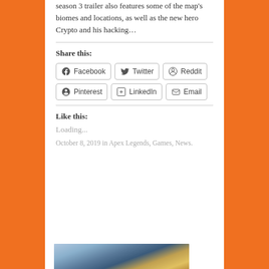season 3 trailer also features some of the map's biomes and locations, as well as the new hero Crypto and his hacking…
Share this:
Facebook Twitter Reddit Pinterest LinkedIn Email
Like this:
Loading...
October 8, 2019 in Apex Legends, Games, News.
[Figure (photo): Group of Apex Legends characters posed together in a promotional/artwork image]